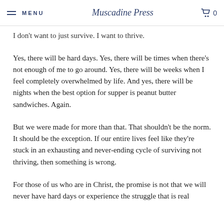MENU | Muscadine Press | 🛒 0
I don't want to just survive. I want to thrive.
Yes, there will be hard days. Yes, there will be times when there's not enough of me to go around. Yes, there will be weeks when I feel completely overwhelmed by life. And yes, there will be nights when the best option for supper is peanut butter sandwiches. Again.
But we were made for more than that. That shouldn't be the norm. It should be the exception. If our entire lives feel like they're stuck in an exhausting and never-ending cycle of surviving not thriving, then something is wrong.
For those of us who are in Christ, the promise is not that we will never have hard days or experience the struggle that is real